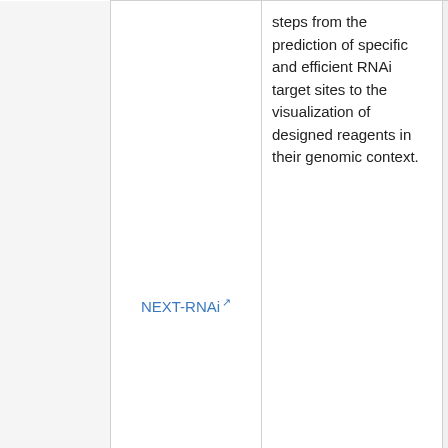|  | Tool | Description | Institution |
| --- | --- | --- | --- |
|  | NEXT-RNAi | steps from the prediction of specific and efficient RNAi target sites to the visualization of designed reagents in their genomic context. | Boutros lab, Heidelberg |
|  | SnapDragon | A tool for the design of long dsRNAs for specific cell-based gene knockdown in Drosophila melanogaster | Drosophila Harvard M Boston, M |